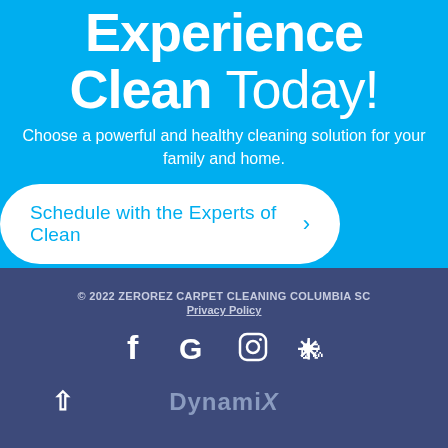Experience Clean Today!
Choose a powerful and healthy cleaning solution for your family and home.
Schedule with the Experts of Clean >
© 2022 ZEROREZ CARPET CLEANING COLUMBIA SC
Privacy Policy
[Figure (other): Social media icons: Facebook, Google, Instagram, Yelp]
[Figure (logo): DynamiX logo with back-to-top arrow]